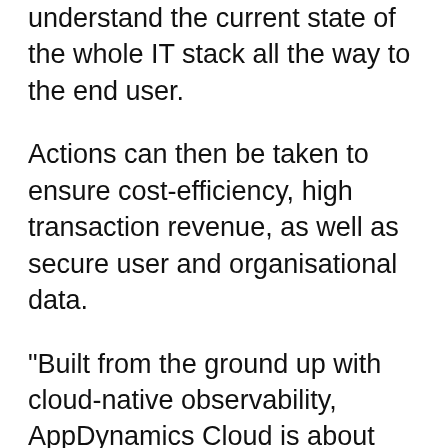understand the current state of the whole IT stack all the way to the end user.
Actions can then be taken to ensure cost-efficiency, high transaction revenue, as well as secure user and organisational data.
“Built from the ground up with cloud-native observability, AppDynamics Cloud is about real outcomes, so you can fix issues when they arise, or even before they happen, and ensure digital services offer exactly what users want,” Centoni adds.
Current AppDynamics customers can upgrade to AppDynamics Cloud and use their existing application performance monitoring agents or feed both solutions concurrently.
AppDynamics Cloud supports cloud-native, managed Kubernetes environments on Amazon Web Services, with future expansion to Microsoft Azure, Google